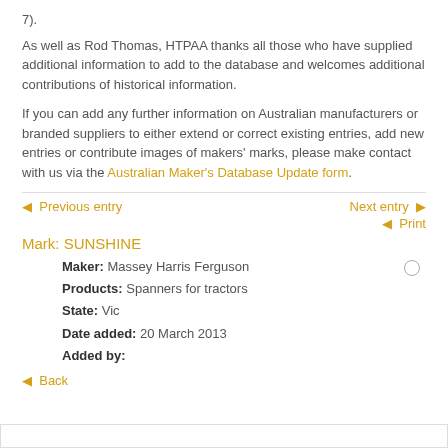7).
As well as Rod Thomas, HTPAA thanks all those who have supplied additional information to add to the database and welcomes additional contributions of historical information.
If you can add any further information on Australian manufacturers or branded suppliers to either extend or correct existing entries, add new entries or contribute images of makers' marks, please make contact with us via the Australian Maker's Database Update form.
◄ Previous entry    Next entry ►
◄ Print
Mark: SUNSHINE
Maker: Massey Harris Ferguson
Products: Spanners for tractors
State: Vic
Date added: 20 March 2013
Added by:
◄ Back